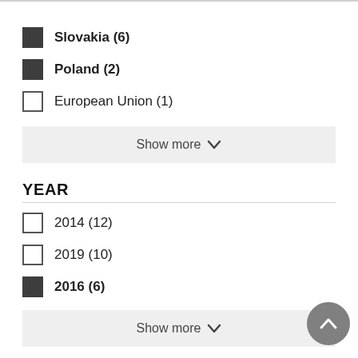Slovakia (6)
Poland (2)
European Union (1)
Show more
YEAR
2014 (12)
2019 (10)
2016 (6)
Show more